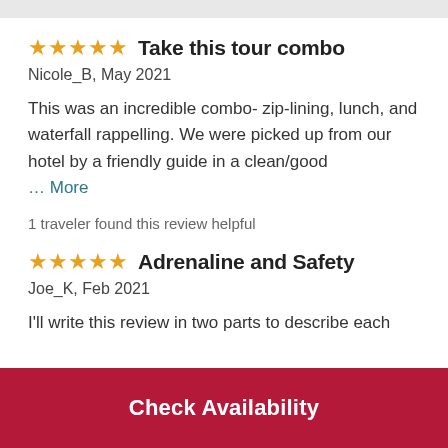Take this tour combo
Nicole_B, May 2021
This was an incredible combo- zip-lining, lunch, and waterfall rappelling. We were picked up from our hotel by a friendly guide in a clean/good … More
1 traveler found this review helpful
Adrenaline and Safety
Joe_K, Feb 2021
I'll write this review in two parts to describe each
Check Availability